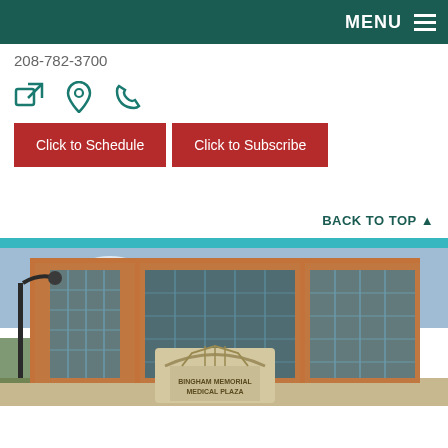MENU
208-782-3700
[Figure (other): Three teal icons: external link icon, map pin/location icon, and phone icon]
Click to Schedule
Click to Subscribe
BACK TO TOP ▲
[Figure (photo): Exterior photo of Bingham Memorial Medical Plaza building - brick multi-story medical building with large glass windows, street lamp, and entrance sign reading BINGHAM MEMORIAL MEDICAL PLAZA]